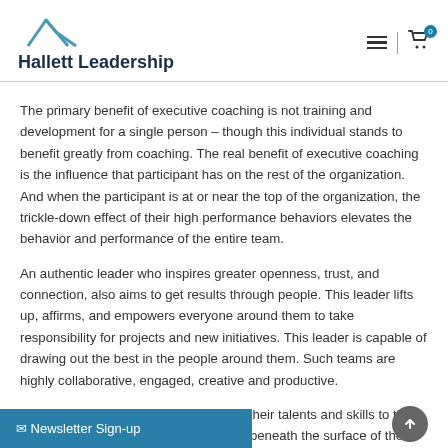Hallett Leadership
The primary benefit of executive coaching is not training and development for a single person – though this individual stands to benefit greatly from coaching. The real benefit of executive coaching is the influence that participant has on the rest of the organization. And when the participant is at or near the top of the organization, the trickle-down effect of their high performance behaviors elevates the behavior and performance of the entire team.
An authentic leader who inspires greater openness, trust, and connection, also aims to get results through people. This leader lifts up, affirms, and empowers everyone around them to take responsibility for projects and new initiatives. This leader is capable of drawing out the best in the people around them. Such teams are highly collaborative, engaged, creative and productive.
Every person in an organization brings their talents and skills to the table. There may be even more hidden beneath the surface of the people where you work. Some of that is unexpressed insight, ability, and enjoyment from the everyone in the organization, is most effective when it